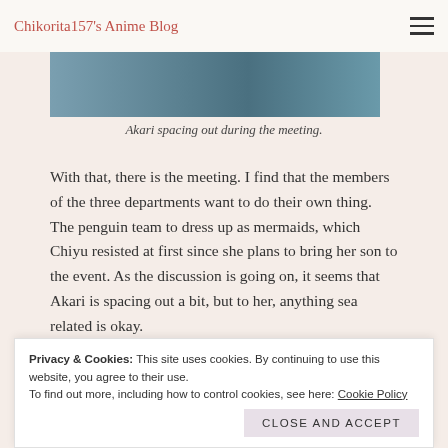Chikorita157's Anime Blog
[Figure (photo): Screenshot from anime showing characters, partially cropped at top of image]
Akari spacing out during the meeting.
With that, there is the meeting. I find that the members of the three departments want to do their own thing. The penguin team to dress up as mermaids, which Chiyu resisted at first since she plans to bring her son to the event. As the discussion is going on, it seems that Akari is spacing out a bit, but to her, anything sea related is okay.
Privacy & Cookies: This site uses cookies. By continuing to use this website, you agree to their use.
To find out more, including how to control cookies, see here: Cookie Policy
Close and accept
It's obvious that Kaoru holds this fairytale to her